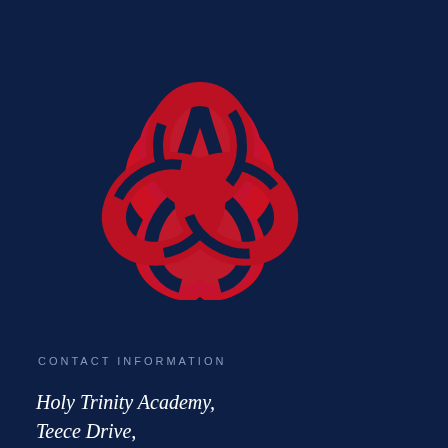[Figure (logo): Red Celtic Trinity Knot (triquetra) symbol on dark navy background]
CONTACT INFORMATION
Holy Trinity Academy,
Teece Drive,
Priorslee,